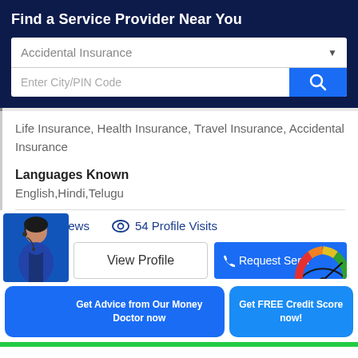Find a Service Provider Near You
Accidental Insurance
Enter City/PIN Code
Life Insurance, Health Insurance, Travel Insurance, Accidental Insurance
Languages Known
English,Hindi,Telugu
861 Views
54 Profile Visits
View Profile
Request Servi...
Get Advice from Our Money Doctor now
Get FREE Credit Score now!